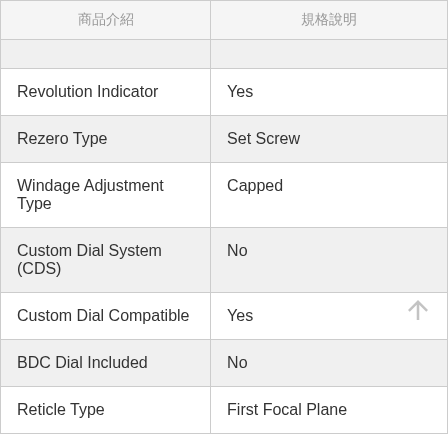| 商品介紹 | 規格說明 |
| --- | --- |
|  |  |
| Revolution Indicator | Yes |
| Rezero Type | Set Screw |
| Windage Adjustment Type | Capped |
| Custom Dial System (CDS) | No |
| Custom Dial Compatible | Yes |
| BDC Dial Included | No |
| Reticle Type | First Focal Plane |